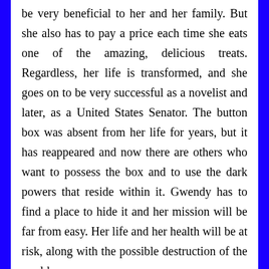be very beneficial to her and her family. But she also has to pay a price each time she eats one of the amazing, delicious treats. Regardless, her life is transformed, and she goes on to be very successful as a novelist and later, as a United States Senator. The button box was absent from her life for years, but it has reappeared and now there are others who want to possess the box and to use the dark powers that reside within it. Gwendy has to find a place to hide it and her mission will be far from easy. Her life and her health will be at risk, along with the possible destruction of the world.
Stephen King and Richard Chizmar